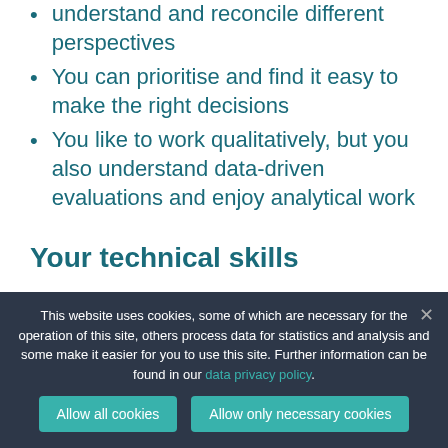understand and reconcile different perspectives
You can prioritise and find it easy to make the right decisions
You like to work qualitatively, but you also understand data-driven evaluations and enjoy analytical work
Your technical skills
This website uses cookies, some of which are necessary for the operation of this site, others process data for statistics and analysis and some make it easier for you to use this site. Further information can be found in our data privacy policy.
Allow all cookies | Allow only necessary cookies